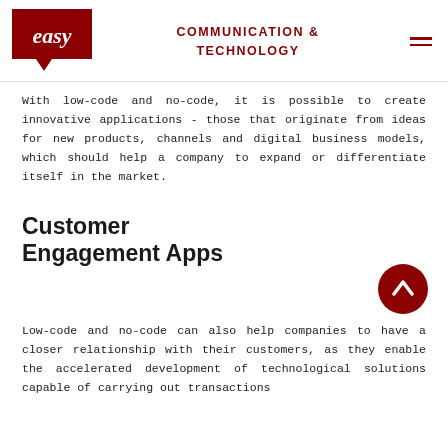easy | COMMUNICATION & TECHNOLOGY
With low-code and no-code, it is possible to create innovative applications - those that originate from ideas for new products, channels and digital business models, which should help a company to expand or differentiate itself in the market.
Customer Engagement Apps
[Figure (illustration): Dark red circular scroll-up button with upward chevron arrow icon]
Low-code and no-code can also help companies to have a closer relationship with their customers, as they enable the accelerated development of technological solutions capable of carrying out transactions